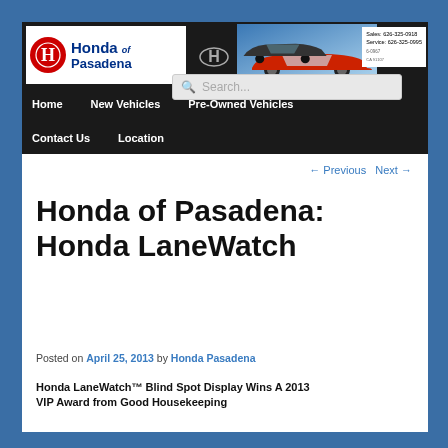[Figure (screenshot): Honda of Pasadena website header with logo, Honda H emblem, car image, contact phone numbers, search bar, and navigation menu with Home, New Vehicles, Pre-Owned Vehicles, Contact Us, Location]
← Previous   Next →
Honda of Pasadena: Honda LaneWatch
Posted on April 25, 2013 by Honda Pasadena
Honda LaneWatch™ Blind Spot Display Wins A 2013 VIP Award from Good Housekeeping